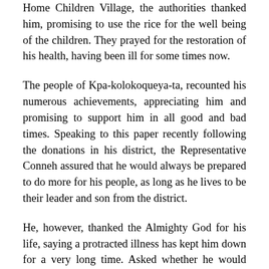Home Children Village, the authorities thanked him, promising to use the rice for the well being of the children. They prayed for the restoration of his health, having been ill for some times now.
The people of Kpa-kolokoqueya-ta, recounted his numerous achievements, appreciating him and promising to support him in all good and bad times. Speaking to this paper recently following the donations in his district, the Representative Conneh assured that he would always be prepared to do more for his people, as long as he lives to be their leader and son from the district.
He, however, thanked the Almighty God for his life, saying a protracted illness has kept him down for a very long time. Asked whether he would contest the 2017 election as a representative candidate of the district, he responded in the affirmative, noting that if the people who elected him wanted